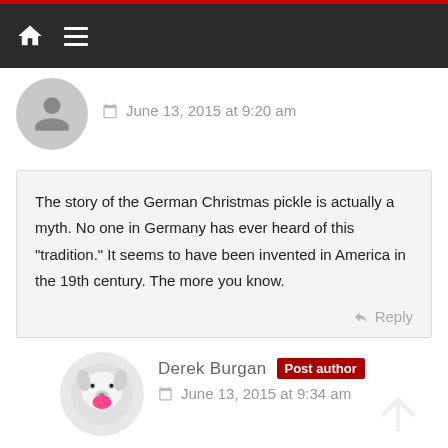Navigation bar with home and menu icons
June 13, 2015 at 9:20 am
The story of the German Christmas pickle is actually a myth. No one in Germany has ever heard of this “tradition.” It seems to have been invented in America in the 19th century. The more you know.
Reply
Derek Burgan Post author
June 13, 2015 at 9:34 am
Sounds like it is time for a special SATURDAY SIX investig...